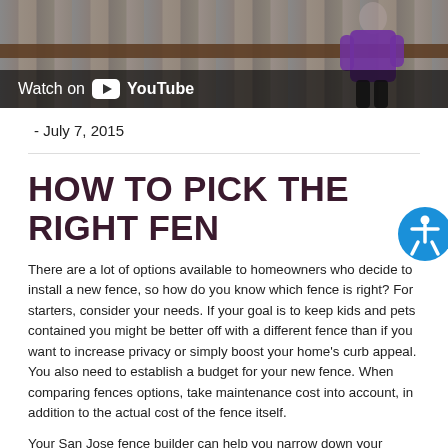[Figure (screenshot): YouTube video thumbnail showing a wooden fence with a person in a purple shirt. Overlay reads 'Watch on YouTube' with play button icon.]
- July 7, 2015
HOW TO PICK THE RIGHT FENCE
There are a lot of options available to homeowners who decide to install a new fence, so how do you know which fence is right? For starters, consider your needs. If your goal is to keep kids and pets contained you might be better off with a different fence than if you want to increase privacy or simply boost your home's curb appeal. You also need to establish a budget for your new fence. When comparing fences options, take maintenance cost into account, in addition to the actual cost of the fence itself.
Your San Jose fence builder can help you narrow down your choices based on your needs, preferences, and budget. You can also benefit from working